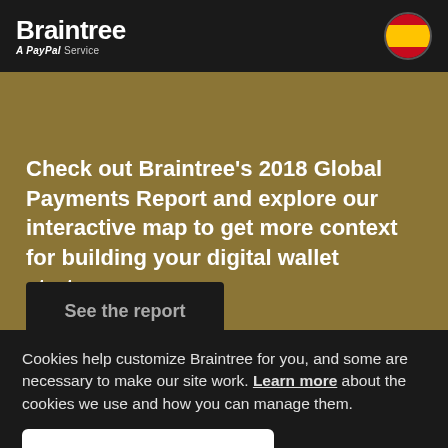Braintree — A PayPal Service
Check out Braintree's 2018 Global Payments Report and explore our interactive map to get more context for building your digital wallet strategy.
See the report
Cookies help customize Braintree for you, and some are necessary to make our site work. Learn more about the cookies we use and how you can manage them.
Accept
Payments   Our Merchants   Contact Sales